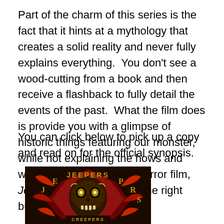Part of the charm of this series is the fact that it hints at a mythology that creates a solid reality and never fully explains everything.  You don't see a wood-cutting from a book and then receive a flashback to fully detail the events of the past.  What the film does is provide you with a glimpse of historic things featuring our monster, while not explaining the hows and whys.  For a low-budget horror film, Jeepers Creepers hits all the right buttons for me.
You can click below to pick up a copy and read on for the official synopsis.
[Figure (photo): Book/DVD cover of Jeepers Creepers featuring a stylized monster skull with gold letters spelling JEEPERS at the top and CREEPERS at the bottom, with red and ornate decorative elements on a dark background.]